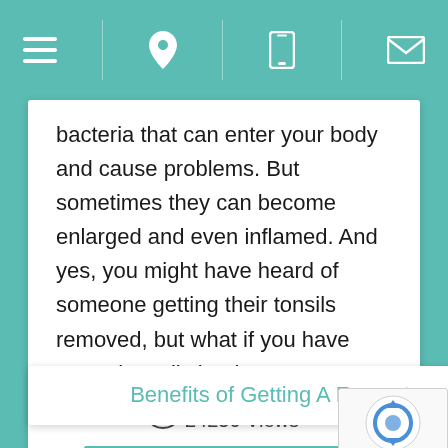[Figure (screenshot): Navigation bar with teal background containing hamburger menu, location pin, mobile phone, and envelope icons separated by vertical dividers]
bacteria that can enter your body and cause problems. But sometimes they can become enlarged and even inflamed. And yes, you might have heard of someone getting their tonsils removed, but what if you have normal tonsils but have …
👁 24250 Views
READ ARTICLE
Benefits of Getting A Frenectomy | How Much It Costs, Types and More